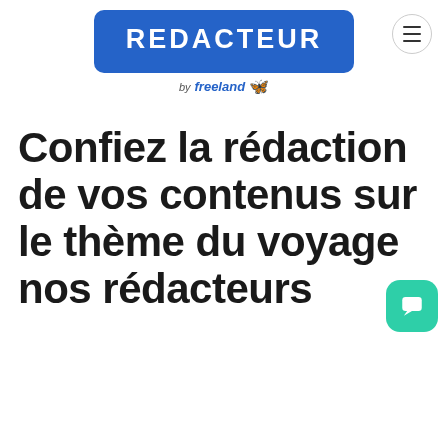[Figure (logo): REDACTEUR logo — white text on blue rounded rectangle, with 'by freeland' subtitle in blue italic and orange butterfly icon]
Confiez la rédaction de vos contenus sur le thème du voyage nos rédacteurs